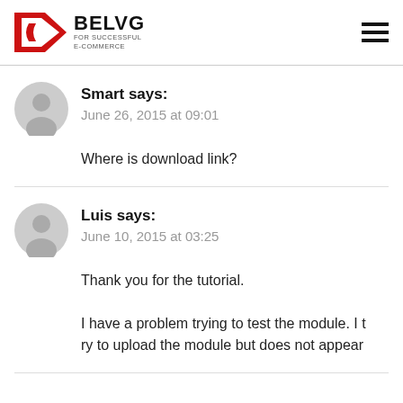BelVG - For Successful E-Commerce
Smart says:
June 26, 2015 at 09:01

Where is download link?
Luis says:
June 10, 2015 at 03:25

Thank you for the tutorial.

I have a problem trying to test the module. I try to upload the module but does not appear